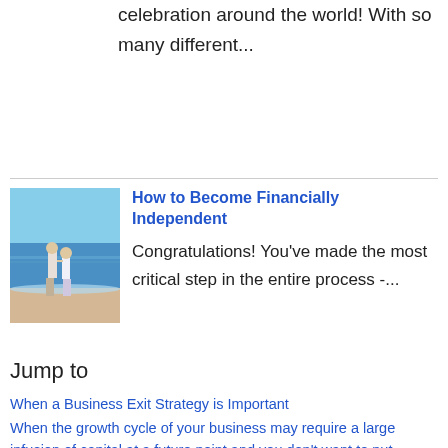celebration around the world! With so many different...
[Figure (photo): A couple walking on a beach, viewed from behind, with ocean waves in the background.]
How to Become Financially Independent
Congratulations! You've made the most critical step in the entire process -...
Jump to
When a Business Exit Strategy is Important
When the growth cycle of your business may require a large infusion of capital at a future point and you don't want to put money at risk.
When you plan or hope to get out of the business at a